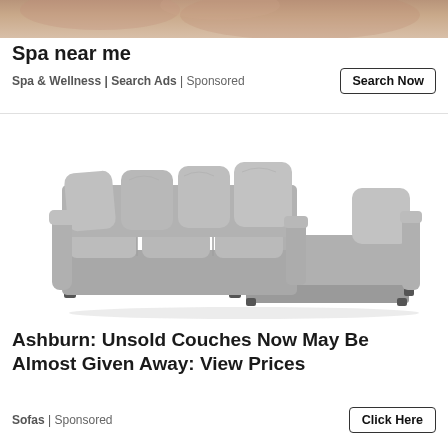[Figure (photo): Partial top of an image showing warm skin-toned background, likely part of a spa or wellness advertisement photo]
Spa near me
Spa & Wellness | Search Ads | Sponsored
[Figure (photo): Gray fabric sectional sofa with chaise lounge and multiple cushions on white background]
Ashburn: Unsold Couches Now May Be Almost Given Away: View Prices
Sofas | Sponsored